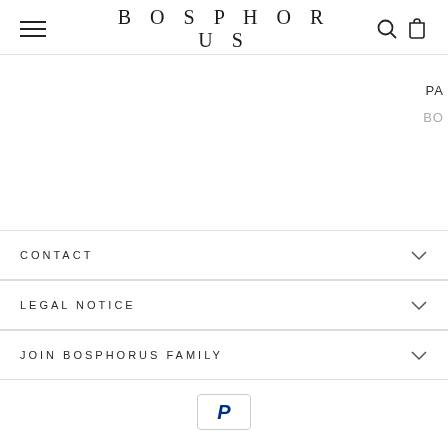BOSPHORUS
PA
BO
CONTACT
LEGAL NOTICE
JOIN BOSPHORUS FAMILY
[Figure (logo): PayPal logo button with blue P icon in rounded rectangle border]